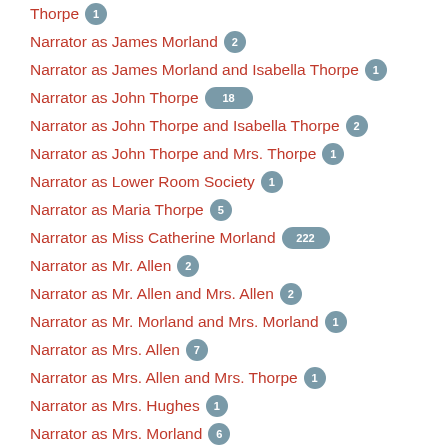Thorpe 1
Narrator as James Morland 2
Narrator as James Morland and Isabella Thorpe 1
Narrator as John Thorpe 18
Narrator as John Thorpe and Isabella Thorpe 2
Narrator as John Thorpe and Mrs. Thorpe 1
Narrator as Lower Room Society 1
Narrator as Maria Thorpe 5
Narrator as Miss Catherine Morland 222
Narrator as Mr. Allen 2
Narrator as Mr. Allen and Mrs. Allen 2
Narrator as Mr. Morland and Mrs. Morland 1
Narrator as Mrs. Allen 7
Narrator as Mrs. Allen and Mrs. Thorpe 1
Narrator as Mrs. Hughes 1
Narrator as Mrs. Morland 6
Narrator as Mrs. Thorpe 2
Narrator as doorman 2
Narrator as footman 2
Narrator as two gentlemen 1